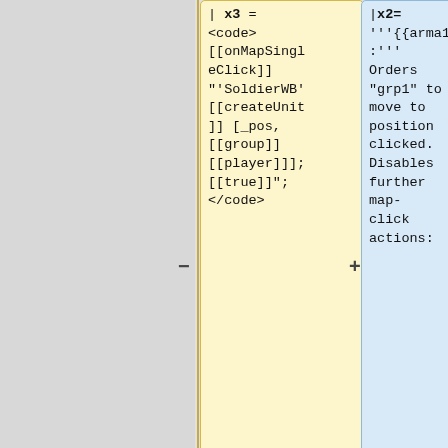| x3 = <code>[[onMapSingleClick]] "'SoldierWB' [[createUnit]] [_pos, [[group]] [[player]]]; [[true]]"; </code>
|x2= '''{{arma1}}:''' Orders "grp1" to move to position clicked. Disables further map-click actions:
'''OFP:''' In OFP single quotes cannot be used for string definition, so two double-
<sqf>onMapSingleClick "grp1 move _pos; onMapSingleClick ''; true";</sqf>